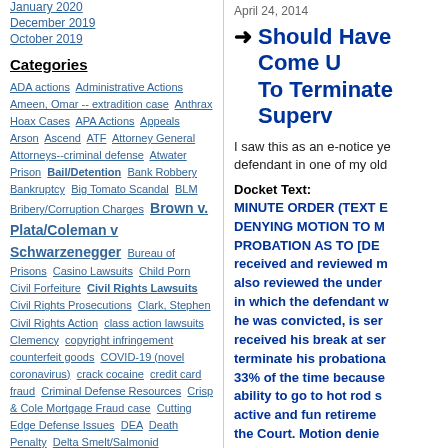January 2020
December 2019
October 2019
Categories
ADA actions Administrative Actions Ameen, Omar -- extradition case Anthrax Hoax Cases APA Actions Appeals Arson Ascend ATF Attorney General Attorneys--criminal defense Atwater Prison Bail/Detention Bank Robbery Bankruptcy Big Tomato Scandal BLM Bribery/Corruption Charges Brown v. Plata/Coleman v Schwarzenegger Bureau of Prisons Casino Lawsuits Child Porn Civil Forfeiture Civil Rights Lawsuits Civil Rights Prosecutions Clark, Stephen Civil Rights Action class action lawsuits Clemency copyright infringement counterfeit goods COVID-19 (novel coronavirus) crack cocaine credit card fraud Criminal Defense Resources Crisp & Cole Mortgage Fraud case Cutting Edge Defense Issues DEA Death Penalty Delta Smelt/Salmonid Consolidated Cases Discovery DNA issues Drone
April 24, 2014
Should Have Come Up With A Better Reason To Terminate Supervision
I saw this as an e-notice yesterday regarding a defendant in one of my old cases.
Docket Text:
MINUTE ORDER (TEXT ENTRY) DENYING MOTION TO MODIFY PROBATION AS TO [DEFENDANT]: received and reviewed motion. Court also reviewed the underlying case file, in which the defendant was convicted, in which he was convicted, is serving, and received his break at sentencing. Motion to terminate his probationary sentence at 33% of the time because of defendant's ability to go to hot rod shows and have active and fun retirement is DENIED by the Court. Motion denied by Judge Lawrence J. O'Neill on A
Posted by John Balazs at 09:46 AM in Comments (0) | TrackBack (0)